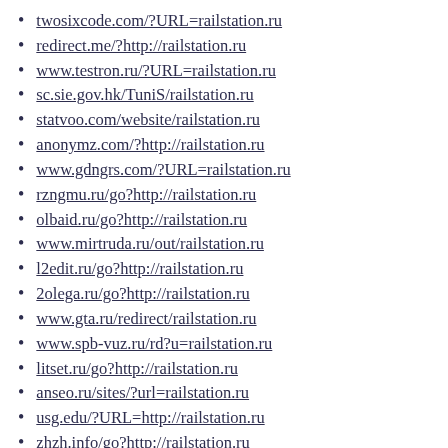twosixcode.com/?URL=railstation.ru
redirect.me/?http://railstation.ru
www.testron.ru/?URL=railstation.ru
sc.sie.gov.hk/TuniS/railstation.ru
statvoo.com/website/railstation.ru
anonymz.com/?http://railstation.ru
www.gdngrs.com/?URL=railstation.ru
rzngmu.ru/go?http://railstation.ru
olbaid.ru/go?http://railstation.ru
www.mirtruda.ru/out/railstation.ru
l2edit.ru/go?http://railstation.ru
2olega.ru/go?http://railstation.ru
www.gta.ru/redirect/railstation.ru
www.spb-vuz.ru/rd?u=railstation.ru
litset.ru/go?http://railstation.ru
anseo.ru/sites/?url=railstation.ru
usg.edu/?URL=http://railstation.ru
zhzh.info/go?http://railstation.ru
www.mmnt.org/cat/rp/railstation.ru